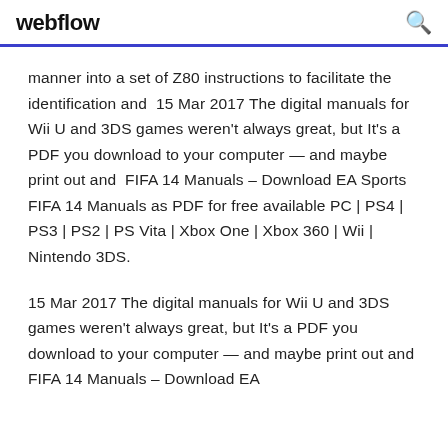webflow
manner into a set of Z80 instructions to facilitate the identification and  15 Mar 2017 The digital manuals for Wii U and 3DS games weren't always great, but It's a PDF you download to your computer — and maybe print out and  FIFA 14 Manuals – Download EA Sports FIFA 14 Manuals as PDF for free available PC | PS4 | PS3 | PS2 | PS Vita | Xbox One | Xbox 360 | Wii | Nintendo 3DS.
15 Mar 2017 The digital manuals for Wii U and 3DS games weren't always great, but It's a PDF you download to your computer — and maybe print out and  FIFA 14 Manuals – Download EA